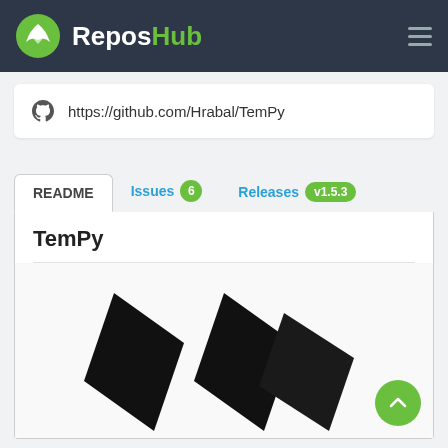ReposHub
https://github.com/Hrabal/TemPy
README  Issues 6  Releases v1.5.3
TemPy
[Figure (logo): TemPy logo: two overlapping black diamond/chevron shapes forming a stylized letter M or mountain shape]